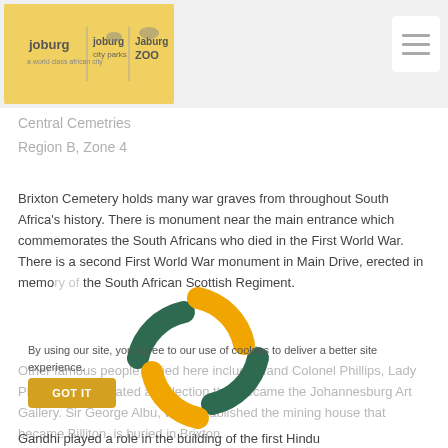Joburg | Joburg City Parks | Joburg Zoo
Central Cemetries
Region B, Zone 4
Brixton Cemetery holds many war graves from throughout South Africa's history. There is monument near the main entrance which commemorates the South Africans who died in the First World War. There is a second First World War monument in Main Drive, erected in memory of the South African Scottish Regiment.
Other famous people buried here include Rand Colonel Phillips, Lady Phillips, who donated a collection that became the Johannesburg Art Gallery. Sir George Albu, who established the mining house that became Billiton, is buried in Brixton.
By using our site, you agree to our use of cookies to deliver a better site experience.
Gandhi played a role in the building of the first Hindu